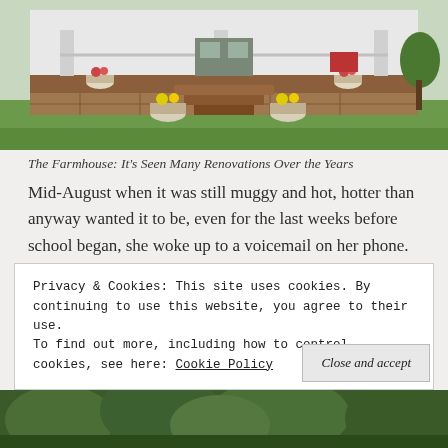[Figure (photo): Photograph of a white farmhouse front porch with stone foundation steps, flower pots with yellow and pink flowers, and green lawn in the background.]
The Farmhouse: It's Seen Many Renovations Over the Years
Mid-August when it was still muggy and hot, hotter than anyway wanted it to be, even for the last weeks before school began, she woke up to a voicemail on her phone. It'd been left in the wee hours of the morning, well before her alarm had gone off, and she didn't have
Privacy & Cookies: This site uses cookies. By continuing to use this website, you agree to their use.
To find out more, including how to control cookies, see here: Cookie Policy
Close and accept
[Figure (photo): Partial view of trees and foliage at the bottom of the page.]